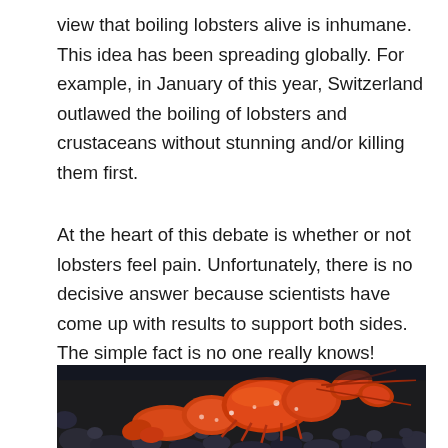view that boiling lobsters alive is inhumane. This idea has been spreading globally. For example, in January of this year, Switzerland outlawed the boiling of lobsters and crustaceans without stunning and/or killing them first.
At the heart of this debate is whether or not lobsters feel pain. Unfortunately, there is no decisive answer because scientists have come up with results to support both sides. The simple fact is no one really knows!
[Figure (photo): Close-up photograph of a red/orange lobster on dark rocky substrate underwater]